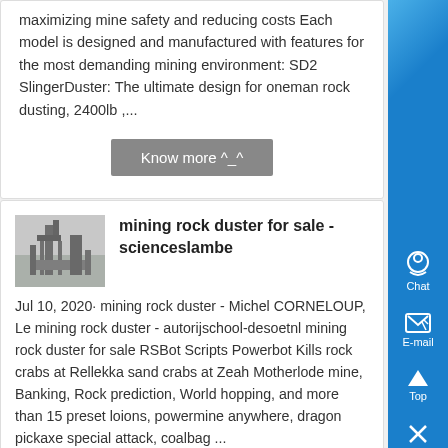maximizing mine safety and reducing costs Each model is designed and manufactured with features for the most demanding mining environment: SD2 SlingerDuster: The ultimate design for oneman rock dusting, 2400lb ,...
Know more ^_^
[Figure (photo): Industrial mining rock duster equipment]
mining rock duster for sale - scienceslambe
Jul 10, 2020· mining rock duster - Michel CORNELOUP, Le mining rock duster - autorijschool-desoetnl mining rock duster for sale RSBot Scripts Powerbot Kills rock crabs at Rellekka sand crabs at Zeah Motherlode mine, Banking, Rock prediction, World hopping, and more than 15 preset loions, powermine anywhere, dragon pickaxe special attack, coalbag ...